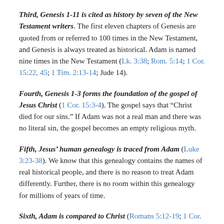Third, Genesis 1-11 is cited as history by seven of the New Testament writers. The first eleven chapters of Genesis are quoted from or referred to 100 times in the New Testament, and Genesis is always treated as historical. Adam is named nine times in the New Testament (Lk. 3:38; Rom. 5:14; 1 Cor. 15:22, 45; 1 Tim. 2:13-14; Jude 14).
Fourth, Genesis 1-3 forms the foundation of the gospel of Jesus Christ (1 Cor. 15:3-4). The gospel says that "Christ died for our sins." If Adam was not a real man and there was no literal sin, the gospel becomes an empty religious myth.
Fifth, Jesus' human genealogy is traced from Adam (Luke 3:23-38). We know that this genealogy contains the names of real historical people, and there is no reason to treat Adam differently. Further, there is no room within this genealogy for millions of years of time.
Sixth, Adam is compared to Christ (Romans 5:12-19; 1 Cor. 15:45). It is obvious that the apostle Paul considered Adam an actual man and the Genesis account literal history. If Christ is a real man, so is Adam!